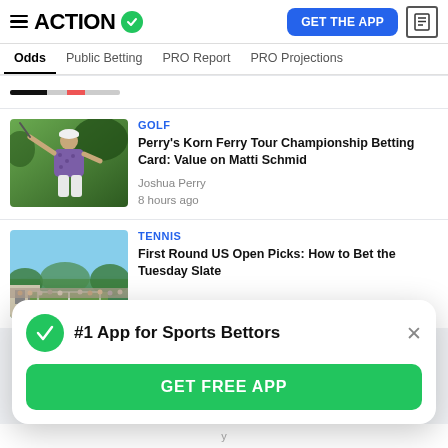ACTION — GET THE APP
Odds | Public Betting | PRO Report | PRO Projections
[Figure (photo): Partial top article with colored bar indicator]
GOLF
[Figure (photo): Golfer swinging club in purple shirt with white cap, green background]
Perry's Korn Ferry Tour Championship Betting Card: Value on Matti Schmid
Joshua Perry
8 hours ago
TENNIS
[Figure (photo): Tennis court with crowd and trees in background under blue sky]
First Round US Open Picks: How to Bet the Tuesday Slate
#1 App for Sports Bettors
GET FREE APP